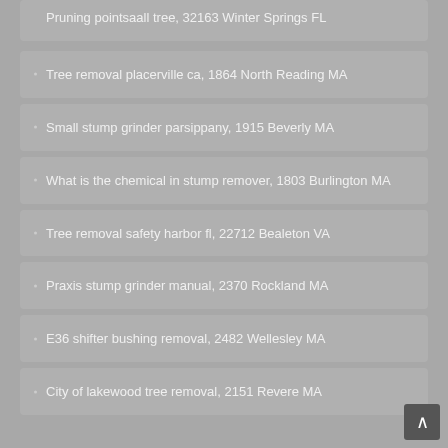Tree removal placerville ca, 1864 North Reading MA
Small stump grinder parsippany, 1915 Beverly MA
What is the chemical in stump remover, 1803 Burlington MA
Tree removal safety harbor fl, 22712 Bealeton VA
Praxis stump grinder manual, 2370 Rockland MA
E36 shifter bushing removal, 2482 Wellesley MA
City of lakewood tree removal, 2151 Revere MA